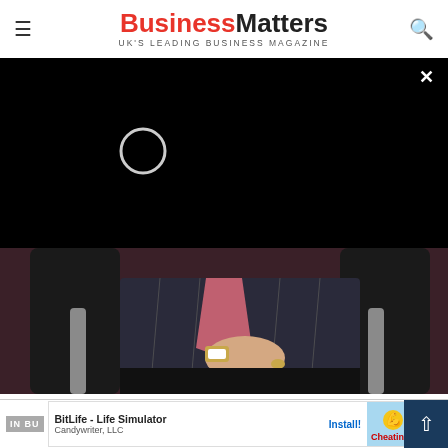BusinessMatters – UK'S LEADING BUSINESS MAGAZINE
[Figure (screenshot): Black video player overlay with loading spinner circle and close X button]
[Figure (photo): Person in a dark pinstripe suit sitting in a black leather chair, wearing a watch and ring, with a pink/red tie visible]
Precisely, What is the point of you? What do you do, exactly?
[Figure (screenshot): Mobile ad banner for BitLife - Life Simulator by Candywriter, LLC with Install button and Ad label, next to an in-article label]